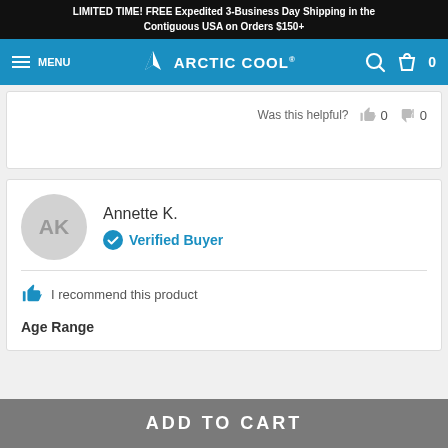LIMITED TIME! FREE Expedited 3-Business Day Shipping in the Contiguous USA on Orders $150+
[Figure (screenshot): Arctic Cool website navigation bar with hamburger menu, Arctic Cool logo, search icon, and cart icon showing 0 items, on blue background]
Was this helpful? 0 0
AK
Annette K.
Verified Buyer
I recommend this product
Age Range
ADD TO CART